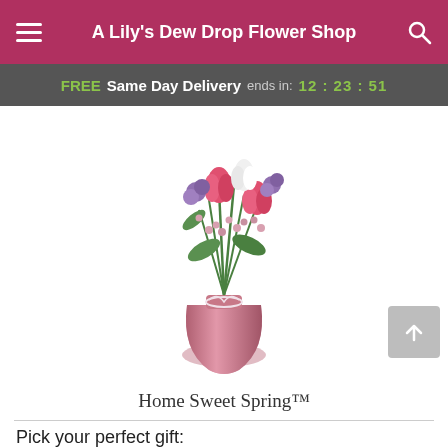A Lily's Dew Drop Flower Shop
FREE Same Day Delivery ends in: 12:23:51
[Figure (photo): A spring flower bouquet in a pink vase with a white ribbon bow, featuring pink tulips, white flowers, purple flowers, and green foliage.]
Home Sweet Spring™
Pick your perfect gift:
[Figure (photo): Three small gift option thumbnail images at the bottom of the page, the middle one highlighted with a gold/yellow border.]